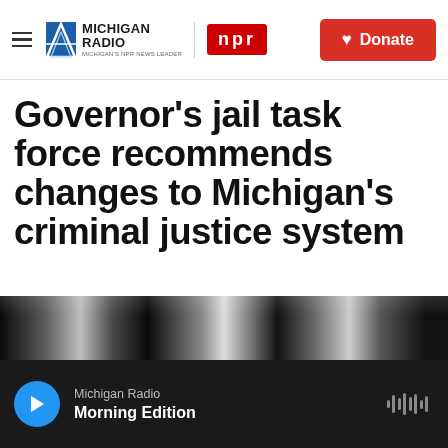Michigan Radio | NPR | Donate
Governor's jail task force recommends changes to Michigan's criminal justice system
Michigan Radio | By Abigail Censky
Published January 14, 2020 at 5:45 PM EST
[Figure (screenshot): Social sharing icons: Facebook, Twitter, LinkedIn, Email]
[Figure (photo): Dark image strip, partial photo visible at bottom of article area]
Michigan Radio
Morning Edition (audio player bar)